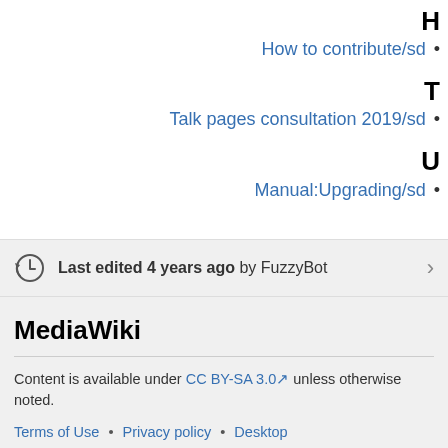H
How to contribute/sd
T
Talk pages consultation 2019/sd
U
Manual:Upgrading/sd
Last edited 4 years ago by FuzzyBot
MediaWiki
Content is available under CC BY-SA 3.0 unless otherwise noted.
Terms of Use • Privacy policy • Desktop